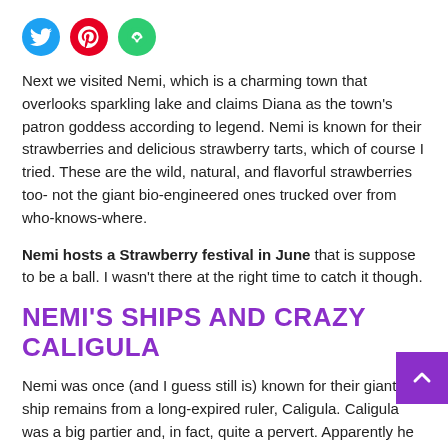[Figure (other): Three social media icon buttons: Twitter (blue circle), Pinterest (red circle), Share/other (green circle)]
Next we visited Nemi, which is a charming town that overlooks sparkling lake and claims Diana as the town's patron goddess according to legend. Nemi is known for their strawberries and delicious strawberry tarts, which of course I tried. These are the wild, natural, and flavorful strawberries too- not the giant bio-engineered ones trucked over from who-knows-where.
Nemi hosts a Strawberry festival in June that is suppose to be a ball. I wasn't there at the right time to catch it though.
NEMI'S SHIPS AND CRAZY CALIGULA
Nemi was once (and I guess still is) known for their giant ship remains from a long-expired ruler, Caligula. Caligula was a big partier and, in fact, quite a pervert. Apparently he was really into bestiality.